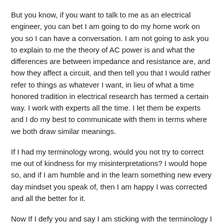But you know, if you want to talk to me as an electrical engineer, you can bet I am going to do my home work on you so I can have a conversation. I am not going to ask you to explain to me the theory of AC power is and what the differences are between impedance and resistance are, and how they affect a circuit, and then tell you that I would rather refer to things as whatever I want, in lieu of what a time honored tradition in electrical research has termed a certain way. I work with experts all the time. I let them be experts and I do my best to communicate with them in terms where we both draw similar meanings.
If I had my terminology wrong, would you not try to correct me out of kindness for my misinterpretations? I would hope so, and if I am humble and in the learn something new every day mindset you speak of, then I am happy I was corrected and all the better for it.
Now If I defy you and say I am sticking with the terminology I want to, and I am incorrect, you shake your head, shrug, and go back to the beer in your hand. I don't Blame you.
Geocaching's Benchmark game is a super mixed metaphor. It uses incorrect terminology, It confuses Datum with the correct one to use, and ...